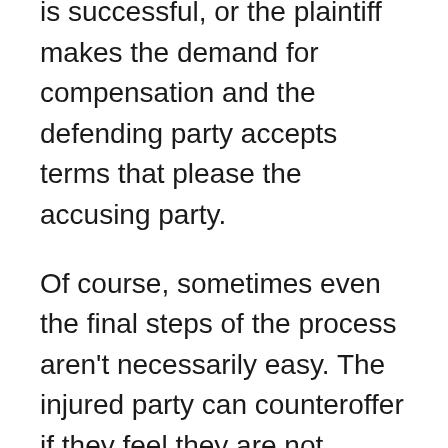is successful, or the plaintiff makes the demand for compensation and the defending party accepts terms that please the accusing party.
Of course, sometimes even the final steps of the process aren't necessarily easy. The injured party can counteroffer if they feel they are not getting in their eyes a fair compensation. It is when these offers wind up floating back and forth in limbo or an offer is totally unacceptable that a personal injury claim could potentially end up going to court.